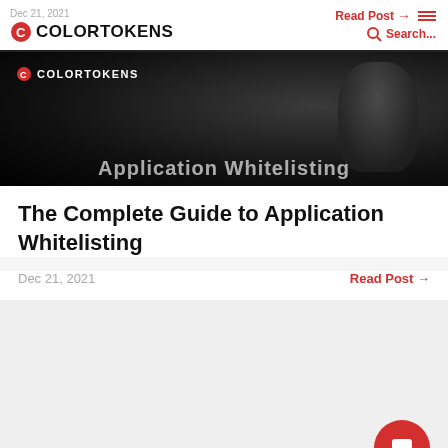Dec 21, 2021 | COLORTOKENS | Read Post → | Search... | ☰
[Figure (screenshot): Dark banner image with man in background, COLORTOKENS logo in top-left corner, and 'Application Whitelisting' text overlaid at the bottom]
The Complete Guide to Application Whitelisting
Dec 21, 2021
Read Post →
Keep in touch!